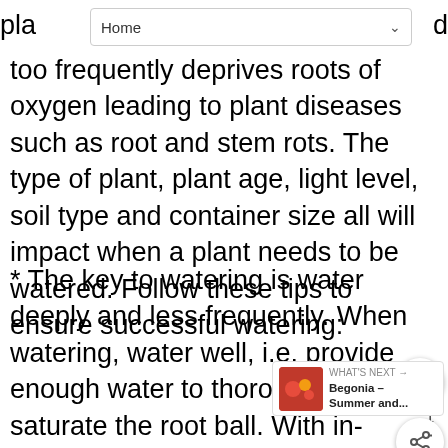Home
too frequently deprives roots of oxygen leading to plant diseases such as root and stem rots. The type of plant, plant age, light level, soil type and container size all will impact when a plant needs to be watered. Follow these tips to ensure successful watering:
* The key to watering is water deeply and less frequently. When watering, water well, i.e. provide enough water to thoroughly saturate the root ball. With in-ground plants, this means thoroughly soaking the soil until water has penetrated to a depth of 6 to 7 inches (1' being better). With container grown plants, enough water to allow water to flow through the drainage holes.